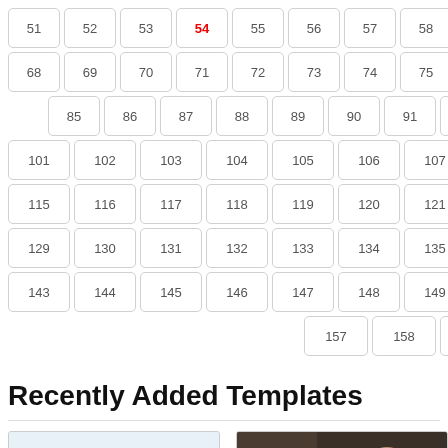51 52 53 54 55 56 57 58 59 60 61
68 69 70 71 72 73 74 75 76 77 78
85 86 87 88 89 90 91 92 93 94
101 102 103 104 105 106 107 108 109
115 116 117 118 119 120 121 122 123
129 130 131 132 133 134 135 136 137
143 144 145 146 147 148 149 150 151
157 158 Next
Recently Added Templates
[Figure (screenshot): Thumbnail screenshot of a website template showing two people]
[Figure (screenshot): Thumbnail screenshot of a website template showing a smiling woman]